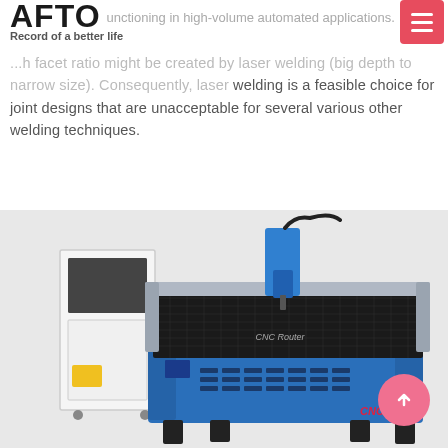AFTO — Record of a better life — functioning in high-volume automated applications.
... high facet ratio might be created by laser welding (big depth to narrow size). Consequently, laser welding is a feasible choice for joint designs that are unacceptable for several various other welding techniques.
[Figure (photo): A blue CNC router machine with a white control cabinet on the left side. The machine has a gantry-style frame, a spindle head, and a large work table with a grid surface. The label 'CNC Router' is visible on the machine body.]